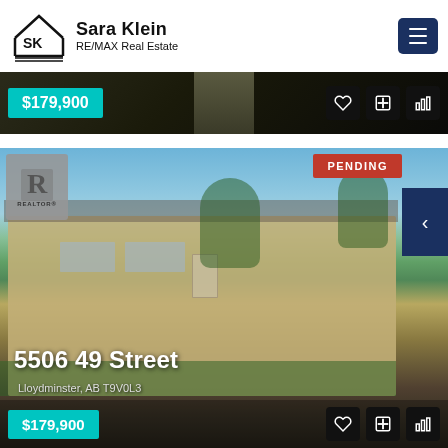[Figure (logo): Sara Klein RE/MAX Real Estate logo with SK house icon and hamburger menu button]
[Figure (photo): Dark exterior photo strip showing a walkway, with $179,900 price tag in teal and action icons]
[Figure (photo): Photo of a residential house at 5506 49 Street, Lloydminster, AB T9V0L3 with PENDING badge, Realtor logo, navigation arrow, price tag $179,900 and action icons]